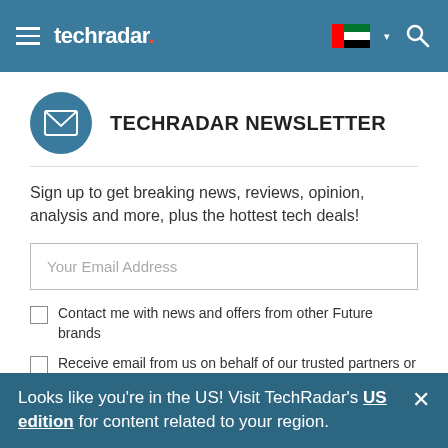techradar
TECHRADAR NEWSLETTER
Sign up to get breaking news, reviews, opinion, analysis and more, plus the hottest tech deals!
Your Email Address
Contact me with news and offers from other Future brands
Receive email from us on behalf of our trusted partners or sponsors
SIGN ME UP
Looks like you're in the US! Visit TechRadar's US edition for content related to your region.